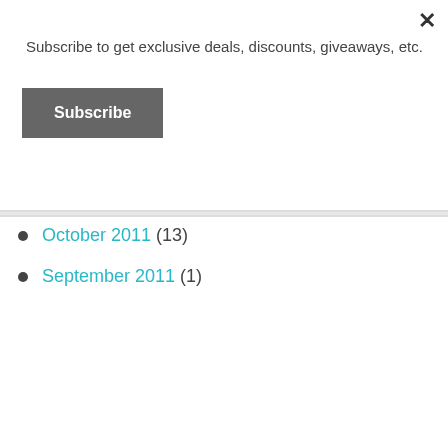Subscribe to get exclusive deals, discounts, giveaways, etc.
Subscribe
October 2011 (13)
September 2011 (1)
Visit Mom Bloggers Club: Connect With Over 18,000 Mom
Advertisements
[Figure (photo): Victoria's Secret advertisement banner with model, VS logo, SHOP THE COLLECTION text, and SHOP NOW button]